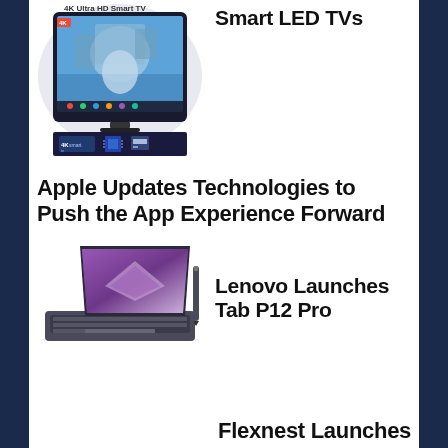[Figure (photo): 4K Ultra HD Smart TV product image with smart TV branding bar below]
Smart LED TVs
Apple Updates Technologies to Push the App Experience Forward
[Figure (photo): Lenovo Tab P12 Pro tablet with keyboard and stylus]
Lenovo Launches Tab P12 Pro
Flexnest Launches